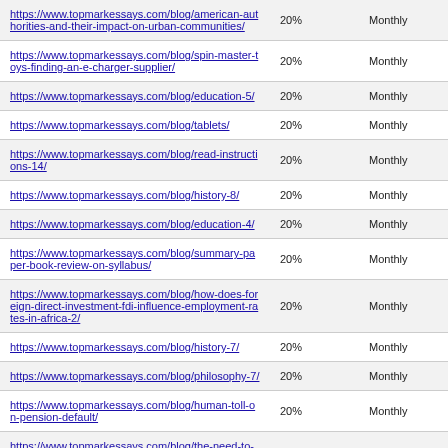| https://www.topmarkessays.com/blog/american-authorities-and-their-impact-on-urban-communities/ | 20% | Monthly |
| https://www.topmarkessays.com/blog/spin-master-toys-finding-an-e-charger-supplier/ | 20% | Monthly |
| https://www.topmarkessays.com/blog/education-5/ | 20% | Monthly |
| https://www.topmarkessays.com/blog/tablets/ | 20% | Monthly |
| https://www.topmarkessays.com/blog/read-instructions-14/ | 20% | Monthly |
| https://www.topmarkessays.com/blog/history-8/ | 20% | Monthly |
| https://www.topmarkessays.com/blog/education-4/ | 20% | Monthly |
| https://www.topmarkessays.com/blog/summary-paper-book-review-on-syllabus/ | 20% | Monthly |
| https://www.topmarkessays.com/blog/how-does-foreign-direct-investment-fdi-influence-employment-rates-in-africa-2/ | 20% | Monthly |
| https://www.topmarkessays.com/blog/history-7/ | 20% | Monthly |
| https://www.topmarkessays.com/blog/philosophy-7/ | 20% | Monthly |
| https://www.topmarkessays.com/blog/human-toll-on-pension-default/ | 20% | Monthly |
| https://www.topmarkessays.com/blog/the-need-to-modernise- | 20% | Monthly |